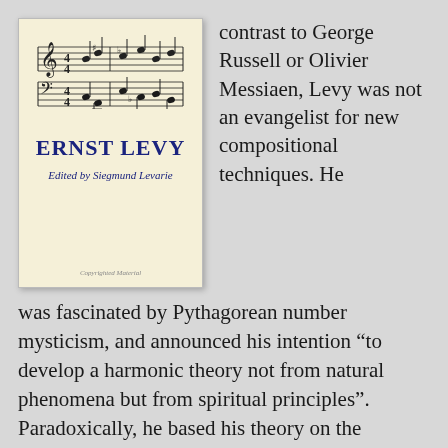[Figure (illustration): Book cover of an Ernst Levy volume edited by Siegmund Levarie, featuring musical staff notation at the top, the title ERNST LEVY in bold blue, and editor credit in italic blue. The cover has a cream/yellow background.]
contrast to George Russell or Olivier Messiaen, Levy was not an evangelist for new compositional techniques. He was fascinated by Pythagorean number mysticism, and announced his intention “to develop a harmonic theory not from natural phenomena but from spiritual principles”. Paradoxically, he based his theory on the overtone series – the harmonics or upper partials that can be sounded on a string or a